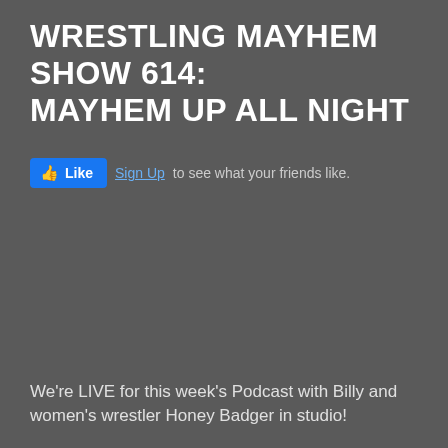WRESTLING MAYHEM SHOW 614: MAYHEM UP ALL NIGHT
[Figure (other): Facebook Like button with thumbs up icon and 'Sign Up' link followed by text 'to see what your friends like.']
We're LIVE for this week's Podcast with Billy and women's wrestler Honey Badger in studio!